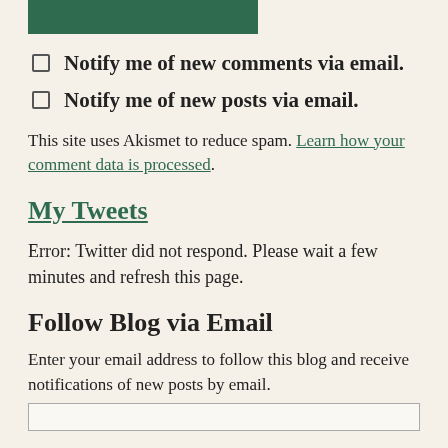[Figure (other): Green button at top of page]
Notify me of new comments via email.
Notify me of new posts via email.
This site uses Akismet to reduce spam. Learn how your comment data is processed.
My Tweets
Error: Twitter did not respond. Please wait a few minutes and refresh this page.
Follow Blog via Email
Enter your email address to follow this blog and receive notifications of new posts by email.